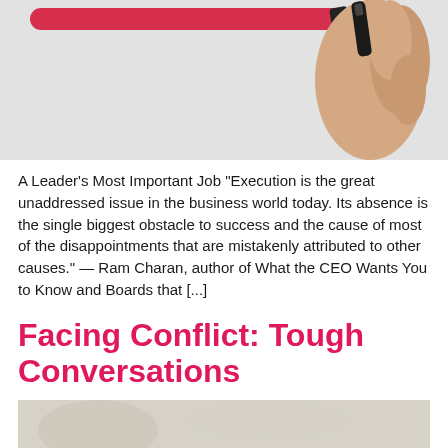[Figure (photo): A hand holding a red marker drawing a red underline/check on a whiteboard or glass surface, light gray background.]
A Leader’s Most Important Job “Execution is the great unaddressed issue in the business world today. Its absence is the single biggest obstacle to success and the cause of most of the disappointments that are mistakenly attributed to other causes.” — Ram Charan, author of What the CEO Wants You to Know and Boards that [...]
Facing Conflict: Tough Conversations
[Figure (photo): Partial bottom image, light beige/cream tones, blurred background scene.]